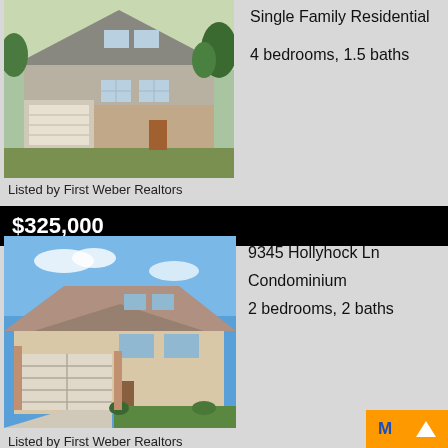[Figure (photo): Single family residential house with garage and lawn]
Single Family Residential
4 bedrooms, 1.5 baths
Listed by First Weber Realtors
$325,000
9345 Hollyhock Ln
Condominium
2 bedrooms, 2 baths
[Figure (photo): Condominium with two-car garage and driveway]
Listed by First Weber Realtors